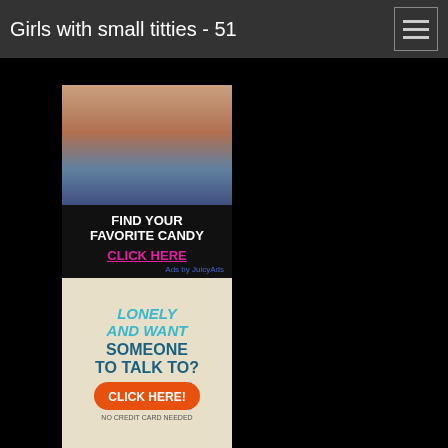Girls with small titties - 51
[Figure (infographic): Advertisement banner with image of person in denim shorts and text: FIND YOUR FAVORITE CANDY CLICK HERE. Ads by JuicyAds.]
[Figure (infographic): Advertisement banner on beige background: LONELY AND WANT SOMEONE TO TALK TO? CLICK HERE! NO CREDIT CARD NEEDED]